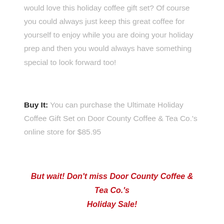would love this holiday coffee gift set? Of course you could always just keep this great coffee for yourself to enjoy while you are doing your holiday prep and then you would always have something special to look forward too!
Buy It: You can purchase the Ultimate Holiday Coffee Gift Set on Door County Coffee & Tea Co.'s online store for $85.95
But wait! Don't miss Door County Coffee & Tea Co.'s Holiday Sale!